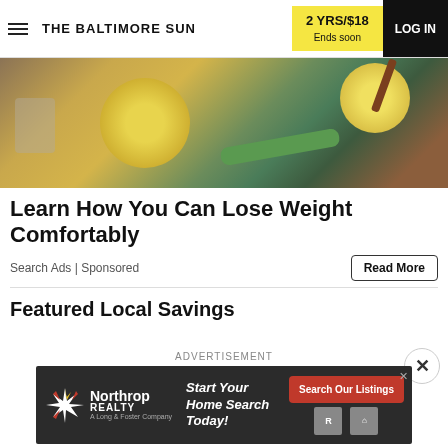THE BALTIMORE SUN | 2 YRS/$18 Ends soon | LOG IN
[Figure (photo): Hero image of lemons, cucumber, honey dipper and jar on a dark surface — ingredients for a weight loss remedy]
Learn How You Can Lose Weight Comfortably
Search Ads | Sponsored
Read More
Featured Local Savings
ADVERTISEMENT
[Figure (advertisement): Northrop Realty advertisement: Start Your Home Search Today! with Search Our Listings button]